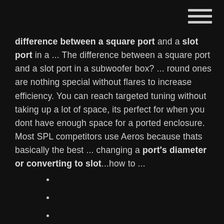difference between a square port and a slot port in a ... The difference between a square port and a slot port in a subwoofer box? ... round ones are nothing special without flares to increase efficiency. You can reach targeted tuning without taking up a lot of space, its perfect for when you dont have enough space for a ported enclosure. Most SPL competitors use Aeros because thats basically the best ... changing a port's diameter or converting to slot...how to ...